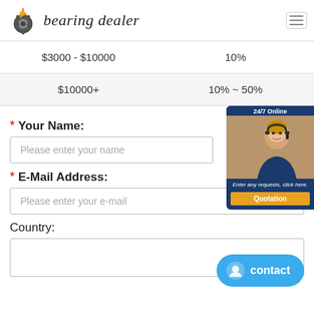[Figure (logo): Bearing dealer logo with flaming gear icon and italic text 'bearing dealer']
| $3000 - $10000 | 10% |
| $10000+ | 10% ~ 50% |
* Your Name:
Please enter your name
* E-Mail Address:
Please enter your e-mail
Country:
[Figure (illustration): 24/7 Online chat widget with customer service representative photo, text 'Enter any requests, click here.' and 'Quotation' button]
[Figure (illustration): Blue contact button with smiley face icon and text 'contact']